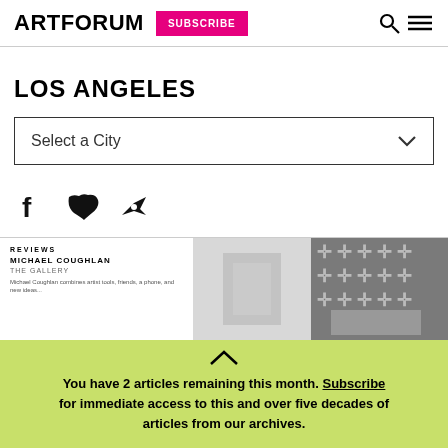ARTFORUM | SUBSCRIBE
LOS ANGELES
Select a City
[Figure (screenshot): Social share icons: Facebook, Twitter, Share]
[Figure (screenshot): Article preview: REVIEWS - MICHAEL COUGHLAN - THE GALLERY - preview text with two thumbnail images]
You have 2 articles remaining this month. Subscribe for immediate access to this and over five decades of articles from our archives.